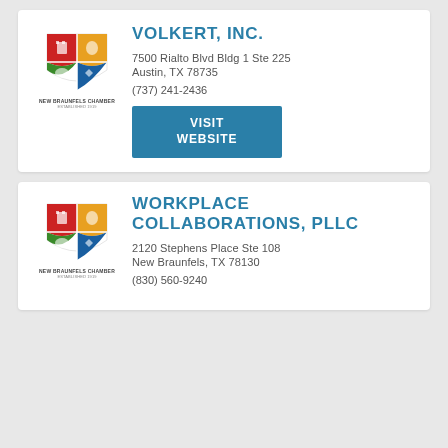[Figure (logo): New Braunfels Chamber shield/crest logo with four quadrants in red, gold, green, and blue, with text NEW BRAUNFELS CHAMBER]
VOLKERT, INC.
7500 Rialto Blvd Bldg 1 Ste 225
Austin, TX 78735
(737) 241-2436
VISIT WEBSITE
[Figure (logo): New Braunfels Chamber shield/crest logo with four quadrants in red, gold, green, and blue, with text NEW BRAUNFELS CHAMBER]
WORKPLACE COLLABORATIONS, PLLC
2120 Stephens Place Ste 108
New Braunfels, TX 78130
(830) 560-9240